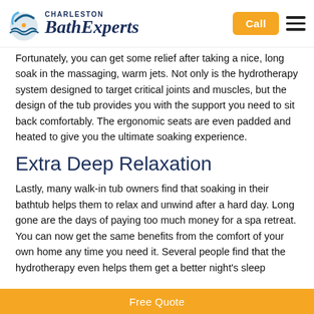Charleston Bath Experts | Call
Fortunately, you can get some relief after taking a nice, long soak in the massaging, warm jets. Not only is the hydrotherapy system designed to target critical joints and muscles, but the design of the tub provides you with the support you need to sit back comfortably. The ergonomic seats are even padded and heated to give you the ultimate soaking experience.
Extra Deep Relaxation
Lastly, many walk-in tub owners find that soaking in their bathtub helps them to relax and unwind after a hard day. Long gone are the days of paying too much money for a spa retreat. You can now get the same benefits from the comfort of your own home any time you need it. Several people find that the hydrotherapy even helps them get a better night's sleep
Free Quote